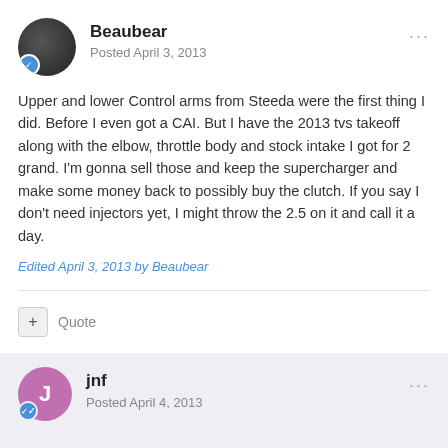Beaubear
Posted April 3, 2013
Upper and lower Control arms from Steeda were the first thing I did. Before I even got a CAI. But I have the 2013 tvs takeoff along with the elbow, throttle body and stock intake I got for 2 grand. I'm gonna sell those and keep the supercharger and make some money back to possibly buy the clutch. If you say I don't need injectors yet, I might throw the 2.5 on it and call it a day.
Edited April 3, 2013 by Beaubear
Quote
jnf
Posted April 4, 2013
Just had the McLeod RXT put in. 2 weeks before the Bash and